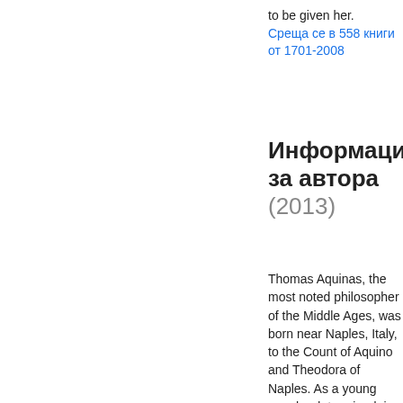to be given her.
Среща се в 558 книги от 1701-2008
Информация за автора (2013)
Thomas Aquinas, the most noted philosopher of the Middle Ages, was born near Naples, Italy, to the Count of Aquino and Theodora of Naples. As a young man he determined, in spite of family opposition to enter the new Order of Saint Dominic. He did so in 1244. Thomas Aquinas was a fairly radical Aristotelian. He rejected